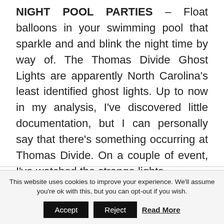NIGHT POOL PARTIES – Float balloons in your swimming pool that sparkle and and blink the night time by way of. The Thomas Divide Ghost Lights are apparently North Carolina's least identified ghost lights. Up to now in my analysis, I've discovered little documentation, but I can personally say that there's something occurring at Thomas Divide. On a couple of event, I've watched the strange lights.

Welcome to my model railroad weblog, which
This website uses cookies to improve your experience. We'll assume you're ok with this, but you can opt-out if you wish.